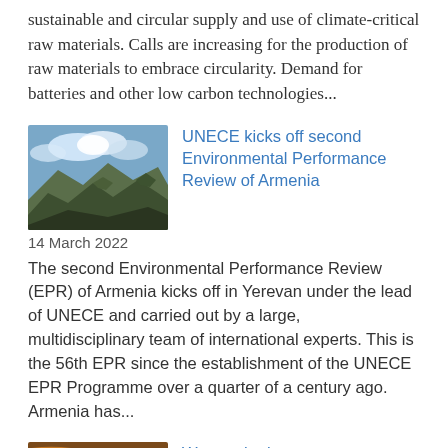sustainable and circular supply and use of climate-critical raw materials. Calls are increasing for the production of raw materials to embrace circularity. Demand for batteries and other low carbon technologies...
[Figure (photo): Mountain landscape with rocky terrain and cloudy sky, representing Armenia]
UNECE kicks off second Environmental Performance Review of Armenia
14 March 2022
The second Environmental Performance Review (EPR) of Armenia kicks off in Yerevan under the lead of UNECE and carried out by a large, multidisciplinary team of international experts. This is the 56th EPR since the establishment of the UNECE EPR Programme over a quarter of a century ago. Armenia has...
[Figure (photo): Close-up of copper or metallic wires, representing climate-critical raw materials]
We need robust management and traceability for the sustainable and circular use of climate-critical raw